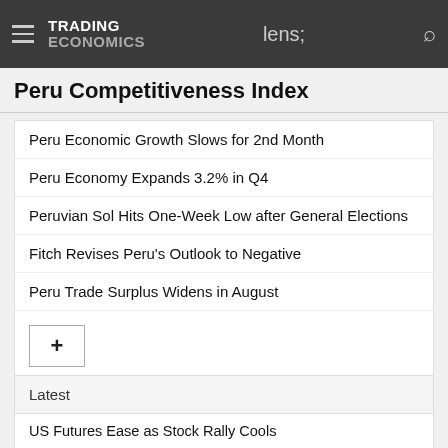TRADING ECONOMICS
Peru Competitiveness Index
Peru Economic Growth Slows for 2nd Month
Peru Economy Expands 3.2% in Q4
Peruvian Sol Hits One-Week Low after General Elections
Fitch Revises Peru's Outlook to Negative
Peru Trade Surplus Widens in August
Latest
US Futures Ease as Stock Rally Cools
British Pound Hits 4-week Low
Japan Inflation Rate Highest in Near 8 Years